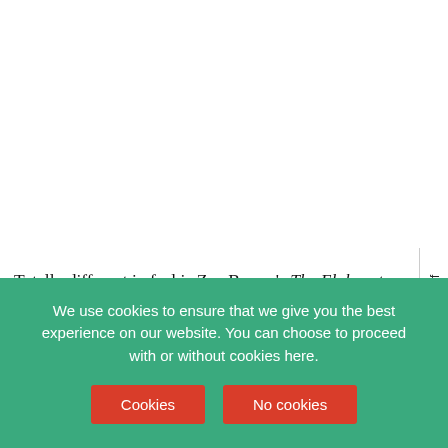Totally different in feel is Zoe Brown's The Elaborate Waste of M[emory and] Longing, a brief monochrome film – only 20 seconds long – whi[ch] mimics the dusty scratchiness and missing frames of vintage film
More HOT Stuff
We use cookies to ensure that we give you the best experience on our website. You can choose to proceed with or without cookies here.